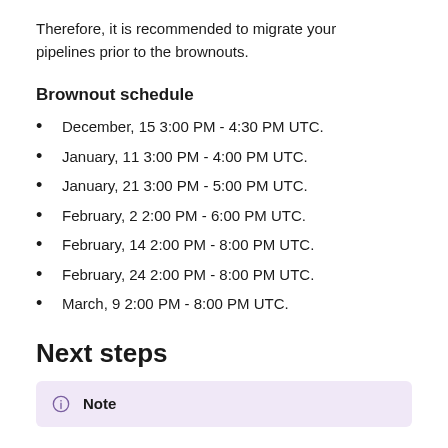Therefore, it is recommended to migrate your pipelines prior to the brownouts.
Brownout schedule
December, 15 3:00 PM - 4:30 PM UTC.
January, 11 3:00 PM - 4:00 PM UTC.
January, 21 3:00 PM - 5:00 PM UTC.
February, 2 2:00 PM - 6:00 PM UTC.
February, 14 2:00 PM - 8:00 PM UTC.
February, 24 2:00 PM - 8:00 PM UTC.
March, 9 2:00 PM - 8:00 PM UTC.
Next steps
Note